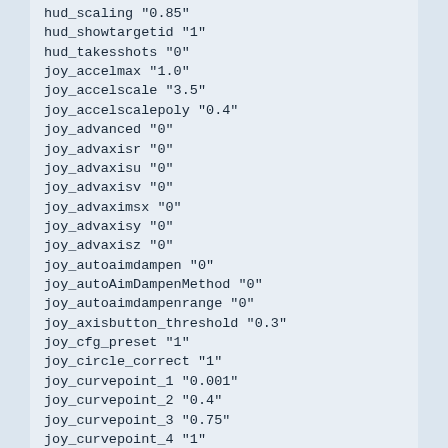hud_scaling "0.85"
hud_showtargetid "1"
hud_takesshots "0"
joy_accelmax "1.0"
joy_accelscale "3.5"
joy_accelscalepoly "0.4"
joy_advanced "0"
joy_advaxisr "0"
joy_advaxisu "0"
joy_advaxisv "0"
joy_advaximsx "0"
joy_advaxisy "0"
joy_advaxisz "0"
joy_autoaimdampen "0"
joy_autoAimDampenMethod "0"
joy_autoaimdampenrange "0"
joy_axisbutton_threshold "0.3"
joy_cfg_preset "1"
joy_circle_correct "1"
joy_curvepoint_1 "0.001"
joy_curvepoint_2 "0.4"
joy_curvepoint_3 "0.75"
joy_curvepoint_4 "1"
joy_curvepoint_end "2"
joy_diagonalpov "0"
joy_display_input "0"
joy_forwardsensitivity "-1"
joy_forwardthreshold "0.15"